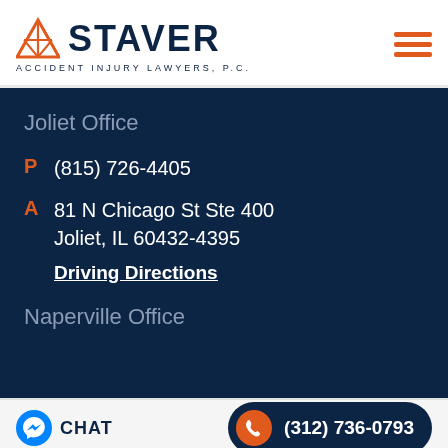[Figure (logo): Staver Accident Injury Lawyers P.C. logo with orange triangle icon and dark navy text]
Joliet Office
P  (815) 726-4405
A  81 N Chicago St Ste 400
Joliet, IL 60432-4395
Driving Directions
Naperville Office
CHAT   (312) 736-0793